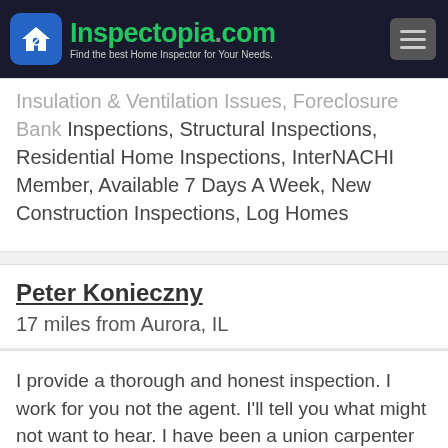Inspectopia.com — Find the best Home Inspector for Your Needs.
Insulation & Ventilation Issues, Foreclosure Bank Inspections, Structural Inspections, Residential Home Inspections, InterNACHI Member, Available 7 Days A Week, New Construction Inspections, Log Homes
Peter Konieczny
17 miles from Aurora, IL
I provide a thorough and honest inspection. I work for you not the agent. I'll tell you what might not want to hear. I have been a union carpenter for 25 yrs. and a licensed inspector for 9 yrs. It's cheaper to find out about your home now rather t... See More
Highlights: Garages & Garage Doors, Roof